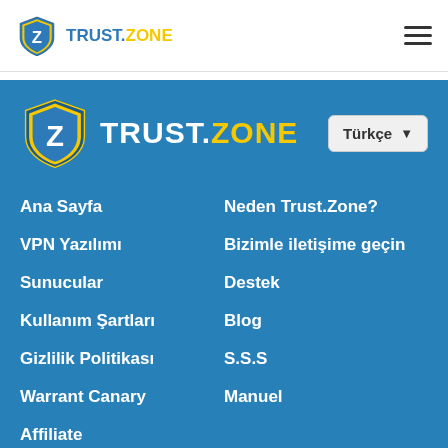TRUST.ZONE
[Figure (logo): Trust.Zone logo with shield icon and hamburger menu in white header bar]
[Figure (logo): Trust.Zone large logo with yellow shield on blue background, with Türkçe language selector dropdown]
Ana Sayfa
VPN Yazılımı
Sunucular
Kullanım Şartları
Gizlilik Politikası
Warrant Canary
Affiliate
Neden Trust.Zone?
Bizimle iletişime geçin
Destek
Blog
S.S.S
Manuel